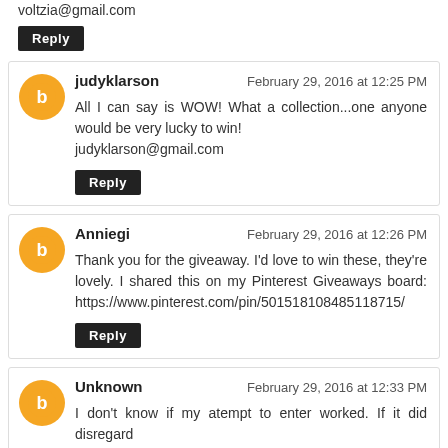voltzia@gmail.com
Reply
judyklarson — February 29, 2016 at 12:25 PM
All I can say is WOW! What a collection...one anyone would be very lucky to win!
judyklarson@gmail.com
Reply
Anniegi — February 29, 2016 at 12:26 PM
Thank you for the giveaway. I'd love to win these, they're lovely. I shared this on my Pinterest Giveaways board: https://www.pinterest.com/pin/501518108485118715/
Reply
Unknown — February 29, 2016 at 12:33 PM
I don't know if my atempt to enter worked. If it did disregard...